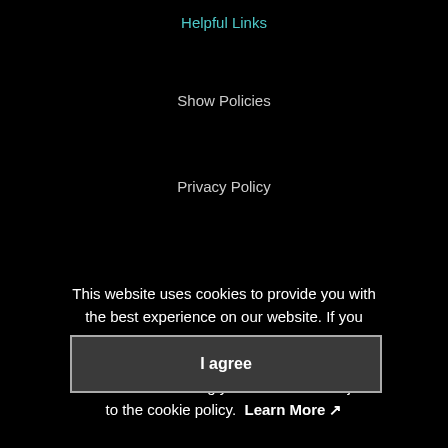Helpful Links
Show Policies
Privacy Policy
This website uses cookies to provide you with the best experience on our website. If you wish to disable cookies, please do so in your browser settings. Your continued use of our site without disabling your cookies is subject to the cookie policy.  Learn More ↗
I agree